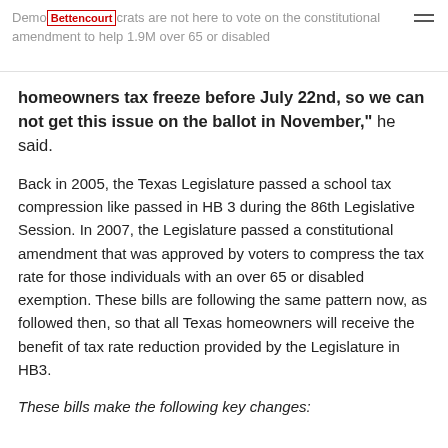Democrats are not here to vote on the constitutional amendment to help 1.9M over 65 or disabled
homeowners tax freeze before July 22nd, so we can not get this issue on the ballot in November," he said.
Back in 2005, the Texas Legislature passed a school tax compression like passed in HB 3 during the 86th Legislative Session. In 2007, the Legislature passed a constitutional amendment that was approved by voters to compress the tax rate for those individuals with an over 65 or disabled exemption. These bills are following the same pattern now, as followed then, so that all Texas homeowners will receive the benefit of tax rate reduction provided by the Legislature in HB3.
These bills make the following key changes: